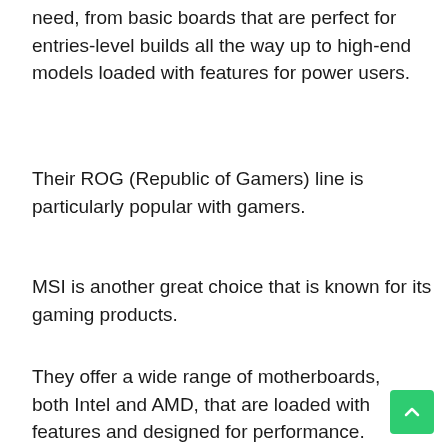need, from basic boards that are perfect for entries-level builds all the way up to high-end models loaded with features for power users.
Their ROG (Republic of Gamers) line is particularly popular with gamers.
MSI is another great choice that is known for its gaming products.
They offer a wide range of motherboards, both Intel and AMD, that are loaded with features and designed for performance.